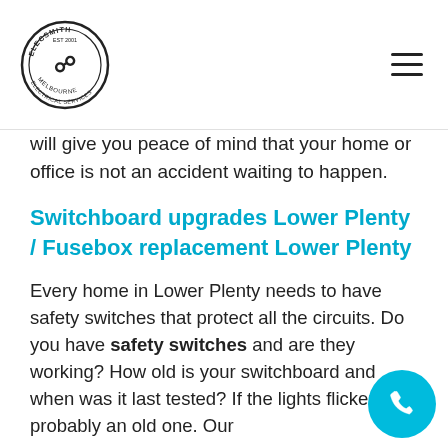Elecsmith Electrical Services logo and navigation
will give you peace of mind that your home or office is not an accident waiting to happen.
Switchboard upgrades Lower Plenty / Fusebox replacement Lower Plenty
Every home in Lower Plenty needs to have safety switches that protect all the circuits. Do you have safety switches and are they working? How old is your switchboard and when was it last tested? If the lights flicker it's probably an old one. Our